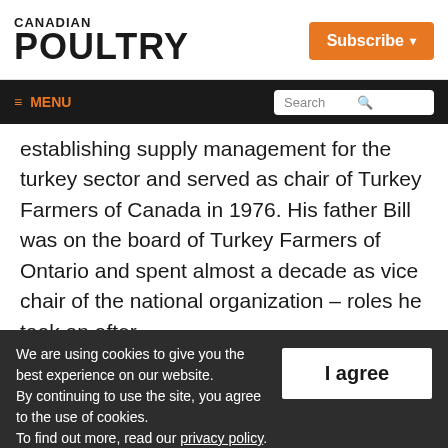CANADIAN POULTRY
Subscribe
≡ MENU | Search
establishing supply management for the turkey sector and served as chair of Turkey Farmers of Canada in 1976. His father Bill was on the board of Turkey Farmers of Ontario and spent almost a decade as vice chair of the national organization – roles he took on after
We are using cookies to give you the best experience on our website.
By continuing to use the site, you agree to the use of cookies.
To find out more, read our privacy policy.
I agree